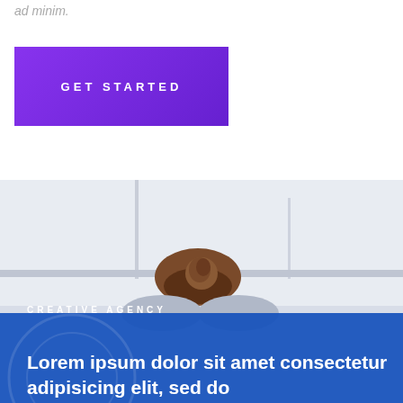ad minim.
GET STARTED
[Figure (photo): Person with brown hair in a bun sitting at a desk in a blurred office environment, viewed from behind/above. Blue branded overlay in the lower portion.]
CREATIVE AGENCY
Lorem ipsum dolor sit amet consectetur adipisicing elit, sed do